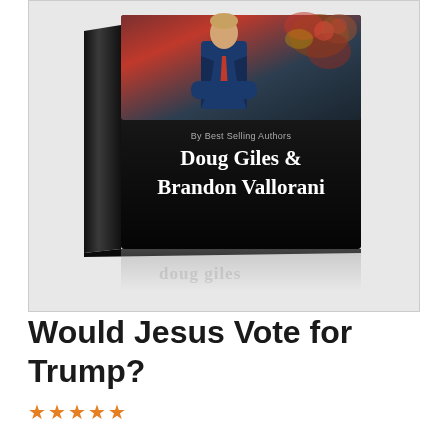[Figure (photo): 3D rendered book cover showing a man in a suit with a red tie, flowers in background. Book by Best Selling Authors Doug Giles & Brandon Vallorani. Dark cover with the authors' names in large white serif text.]
Would Jesus Vote for Trump?